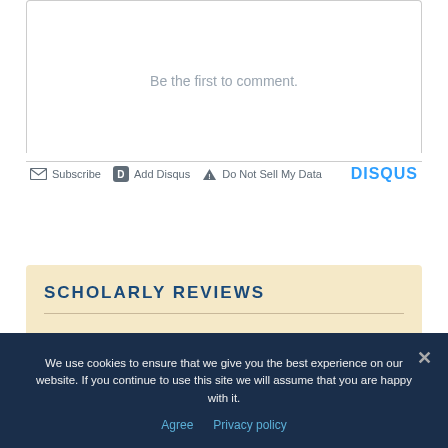Be the first to comment.
Subscribe  Add Disqus  Do Not Sell My Data  DISQUS
SCHOLARLY REVIEWS
We use cookies to ensure that we give you the best experience on our website. If you continue to use this site we will assume that you are happy with it.
Agree   Privacy policy